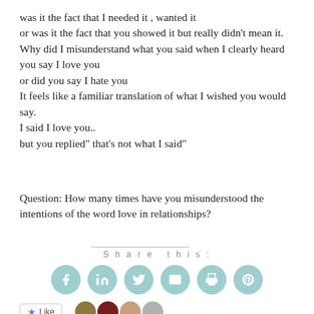was it the fact that I needed it , wanted it
or was it the fact that you showed it but really didn't mean it.
Why did I misunderstand what you said when I clearly heard you say I love you
or did you say I hate you
It feels like a familiar translation of what I wished you would say.
I said I love you..
but you replied" that's not what I said"
Question: How many times have you misunderstood the intentions of the word love in relationships?
Share this:
[Figure (other): Row of six circular teal social media share icons: Facebook, LinkedIn, Twitter, Email, Print, Pinterest]
[Figure (other): Like button and row of four small circular avatar photos]